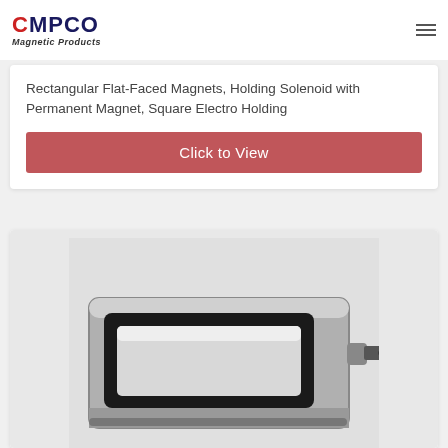CMPCO Magnetic Products
Rectangular Flat-Faced Magnets, Holding Solenoid with Permanent Magnet, Square Electro Holding
Click to View
[Figure (photo): Photo of a rectangular flat-faced holding magnet/solenoid device with chrome metal housing, black rubber seal around a rectangular face, and a cable connector on the right side, shown on a white background.]